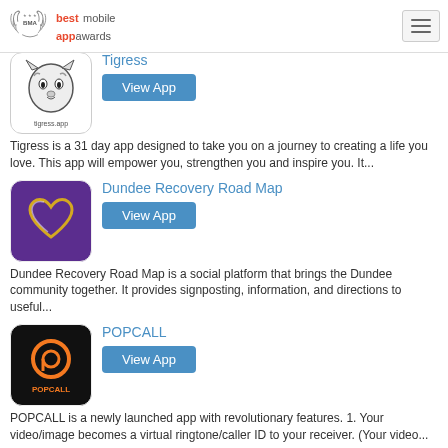best mobile app awards
[Figure (screenshot): Tigress app icon showing a tiger illustration with text tigress.app below]
Tigress
View App
Tigress is a 31 day app designed to take you on a journey to creating a life you love. This app will empower you, strengthen you and inspire you. It...
[Figure (screenshot): Dundee Recovery Road Map app icon showing a heart shape on purple background]
Dundee Recovery Road Map
View App
Dundee Recovery Road Map is a social platform that brings the Dundee community together. It provides signposting, information, and directions to useful...
[Figure (screenshot): POPCALL app icon showing orange P logo on black background with POPCALL text]
POPCALL
View App
POPCALL is a newly launched app with revolutionary features. 1. Your video/image becomes a virtual ringtone/caller ID to your receiver. (Your video...
My Yell